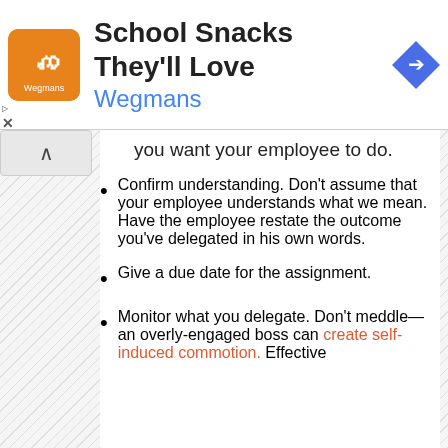[Figure (other): Advertisement banner: Wegmans 'School Snacks They'll Love' ad with orange logo icon and blue navigation arrow]
you want your employee to do.
Confirm understanding. Don't assume that your employee understands what we mean. Have the employee restate the outcome you've delegated in his own words.
Give a due date for the assignment.
Monitor what you delegate. Don't meddle—an overly-engaged boss can create self-induced commotion. Effective